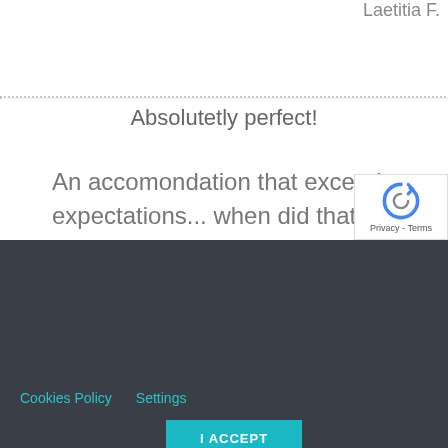Laetitia F.
Absolutetly perfect!
An accomondation that exceeds yo expectations... when did that happe before? Thank you, Harry and Sha
We use cookies to offer you a better browsing experience, analyze site traffic, personalize content, and serve targeted advertisements. If you continue to use this site, you consent to our use of cookies.
Cookies Policy    Settings
I ACCEPT